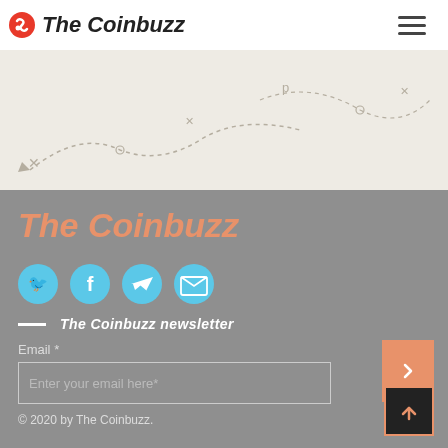The Coinbuzz
[Figure (map): Light beige map background with faint route/strategy lines and markers]
The Coinbuzz
[Figure (infographic): Four circular social media icons: Twitter, Facebook, Telegram, Email — all in light blue]
— The Coinbuzz newsletter
Email *
Enter your email here*
© 2020 by The Coinbuzz.